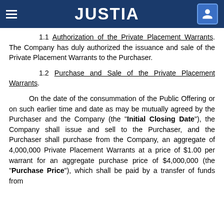JUSTIA
1.1 Authorization of the Private Placement Warrants. The Company has duly authorized the issuance and sale of the Private Placement Warrants to the Purchaser.
1.2 Purchase and Sale of the Private Placement Warrants.
On the date of the consummation of the Public Offering or on such earlier time and date as may be mutually agreed by the Purchaser and the Company (the "Initial Closing Date"), the Company shall issue and sell to the Purchaser, and the Purchaser shall purchase from the Company, an aggregate of 4,000,000 Private Placement Warrants at a price of $1.00 per warrant for an aggregate purchase price of $4,000,000 (the "Purchase Price"), which shall be paid by a transfer of funds from